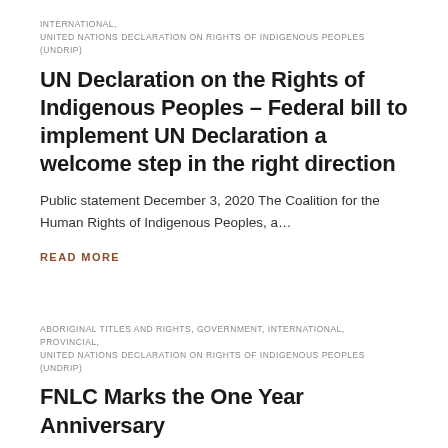INTERNATIONAL, UNITED NATIONS DECLARATION ON RIGHTS OF INDIGENOUS PEOPLES (UNDRIP)
UN Declaration on the Rights of Indigenous Peoples – Federal bill to implement UN Declaration a welcome step in the right direction
Public statement December 3, 2020 The Coalition for the Human Rights of Indigenous Peoples, a…
READ MORE
ABORIGINAL TITLES AND RIGHTS, GOVERNMENT, INTERNATIONAL, PROVINCIAL, UNITED NATIONS DECLARATION ON RIGHTS OF INDIGENOUS PEOPLES (UNDRIP)
FNLC Marks the One Year Anniversary